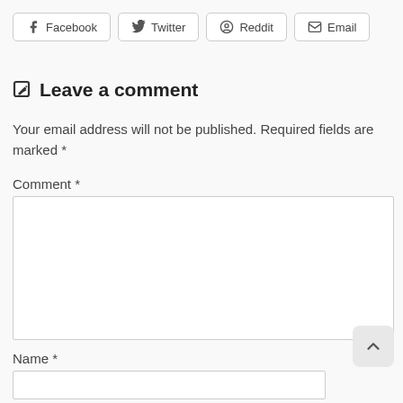[Figure (other): Row of social share buttons: Facebook, Twitter, Reddit, Email]
Leave a comment
Your email address will not be published. Required fields are marked *
Comment *
[Figure (other): Comment textarea input box, empty, with resize handle]
Name *
[Figure (other): Name text input box, empty]
[Figure (other): Scroll-to-top button with upward chevron icon]